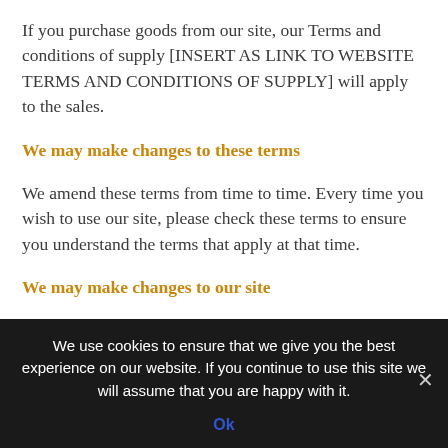If you purchase goods from our site, our Terms and conditions of supply [INSERT AS LINK TO WEBSITE TERMS AND CONDITIONS OF SUPPLY] will apply to the sales.
We may make changes to these terms
We amend these terms from time to time. Every time you wish to use our site, please check these terms to ensure you understand the terms that apply at that time.
We may make changes to our site
We may update and change our site from time to time [to reflect changes to our products, our users' needs and our
We use cookies to ensure that we give you the best experience on our website. If you continue to use this site we will assume that you are happy with it.
Ok